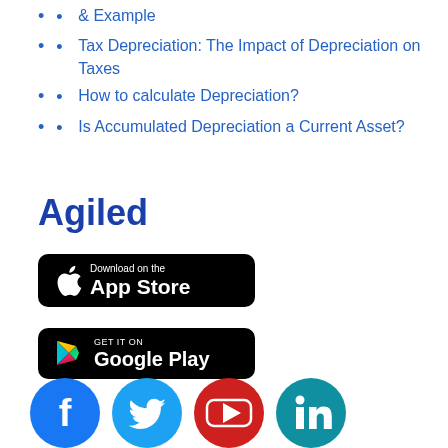& Example
Tax Depreciation: The Impact of Depreciation on Taxes
How to calculate Depreciation?
Is Accumulated Depreciation a Current Asset?
Agiled
[Figure (logo): Download on the App Store button (black rounded rectangle with Apple logo)]
[Figure (logo): Get it on Google Play button (black rounded rectangle with Play Store logo)]
[Figure (infographic): Social media icons: Facebook (blue circle), Twitter (blue circle), YouTube (red circle), LinkedIn (teal circle)]